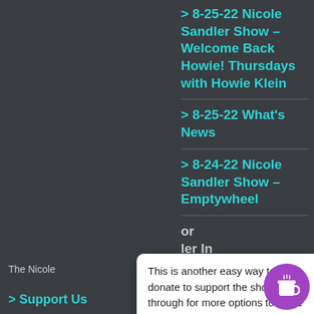> 8-25-22 Nicole Sandler Show – Welcome Back Howie! Thursdays with Howie Klein
> 8-25-22 What's News
> 8-24-22 Nicole Sandler Show – Emptywheel
> [partially visible] or ler In
This is another easy way to donate to support the show! Click through for more options to make monthly donations.
The Nicole
> Support Us
1140 Coral Ridge Drive #159 Coral Springs, Fl